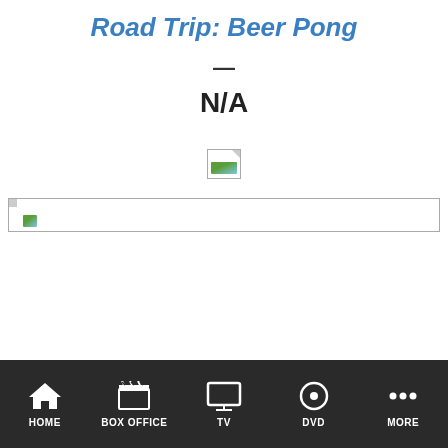Road Trip: Beer Pong
—
N/A
[Figure (photo): Broken/missing image placeholder (small, square)]
[Figure (photo): Broken/missing image placeholder (wide, horizontal banner)]
HOME  BOX OFFICE  TV  DVD  MORE